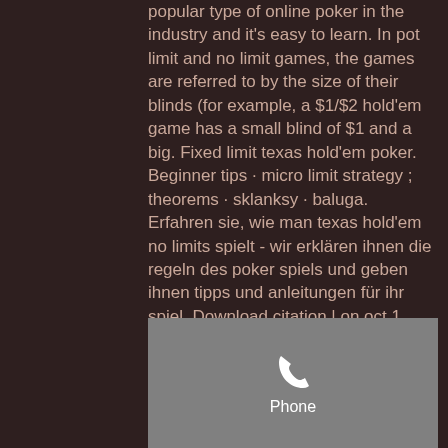popular type of online poker in the industry and it's easy to learn. In pot limit and no limit games, the games are referred to by the size of their blinds (for example, a $1/$2 hold'em game has a small blind of $1 and a big. Fixed limit texas hold'em poker. Beginner tips · micro limit strategy ; theorems · sklanksy · baluga. Erfahren sie, wie man texas hold'em no limits spielt - wir erklären ihnen die regeln des poker spiels und geben ihnen tipps und anleitungen für ihr spiel. Download citation | on oct 1, 2004, lawrence r booker published a no limit texas hold'em poker playing agent | find, read and cite all the research you need Our 2017 Vegas Slots Guide. Vegas Slots - Slot Machines On The Strip. The most popular part of Las Vegas is the Strip, where great casinos. Being the most populated part
[Figure (other): Phone UI overlay showing a telephone handset icon and the label 'Phone']